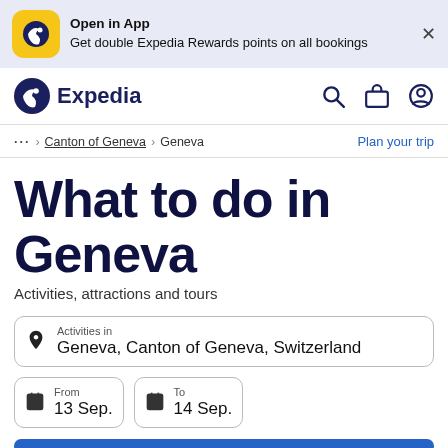[Figure (screenshot): Expedia app banner with yellow logo, 'Open in App' text, and close button]
Expedia navigation bar with logo, search, briefcase, and account icons
… > Canton of Geneva > Geneva   Plan your trip
What to do in Geneva
Activities, attractions and tours
Activities in
Geneva, Canton of Geneva, Switzerland
From
13 Sep.
To
14 Sep.